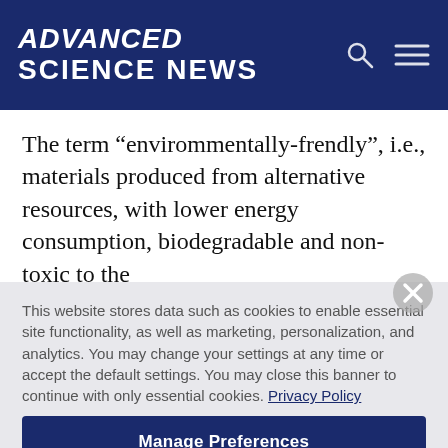ADVANCED SCIENCE NEWS
The term “envirommentally-frendly”, i.e., materials produced from alternative resources, with lower energy consumption, biodegradable and non-toxic to the
This website stores data such as cookies to enable essential site functionality, as well as marketing, personalization, and analytics. You may change your settings at any time or accept the default settings. You may close this banner to continue with only essential cookies. Privacy Policy
Manage Preferences
Accept All
Reject All